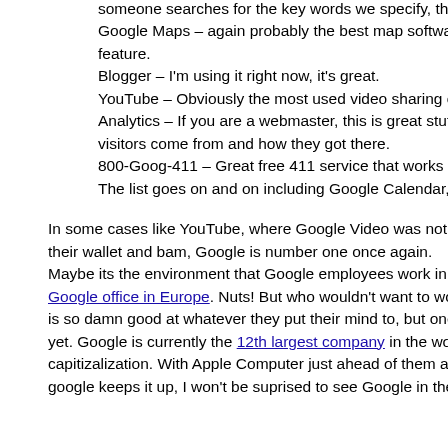someone searches for the key words we specify, they see our ad
Google Maps – again probably the best map software on the web feature.
Blogger – I'm using it right now, it's great.
YouTube – Obviously the most used video sharing on the web
Analytics – If you are a webmaster, this is great stuff if you want visitors come from and how they got there.
800-Goog-411 – Great free 411 service that works better than re
The list goes on and on including Google Calendar, Orkut, Goog
In some cases like YouTube, where Google Video was not number their wallet and bam, Google is number one once again. Maybe its the environment that Google employees work in. Check o Google office in Europe. Nuts! But who wouldn't want to work there. is so damn good at whatever they put their mind to, but one thing is yet. Google is currently the 12th largest company in the world based capitizalization. With Apple Computer just ahead of them and Cisco google keeps it up, I won't be suprised to see Google in the #1 spot